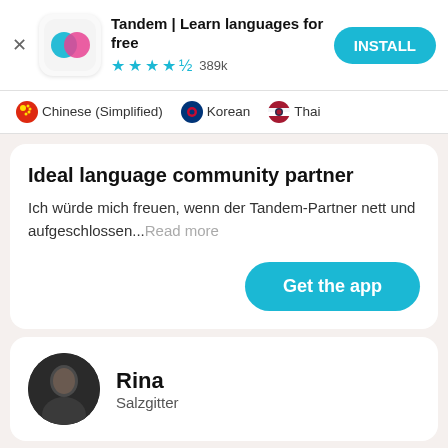[Figure (screenshot): App install banner for Tandem language learning app with teal/pink icon, 4.5 star rating, 389k reviews, and INSTALL button]
Chinese (Simplified)  Korean  Thai
Ideal language community partner
Ich würde mich freuen, wenn der Tandem-Partner nett und aufgeschlossen...Read more
Get the app
Rina
Salzgitter